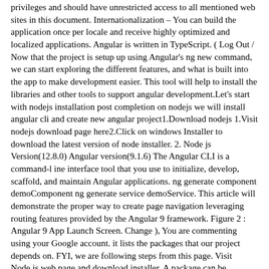privileges and should have unrestricted access to all mentioned web sites in this document. Internationalization – You can build the application once per locale and receive highly optimized and localized applications. Angular is written in TypeScript. ( Log Out /  Now that the project is setup up using Angular's ng new command, we can start exploring the different features, and what is built into the app to make development easier. This tool will help to install the libraries and other tools to support angular development.Let's start with nodejs installation post completion on nodejs we will install angular cli and create new angular project1.Download nodejs 1.Visit nodejs download page here2.Click on windows Installer to download the latest version of node installer. 2. Node js Version(12.8.0) Angular version(9.1.6) The Angular CLI is a command-l ine interface tool that you use to initialize, develop, scaffold, and maintain Angular applications. ng generate component demoComponent ng generate service demoService. This article will demonstrate the proper way to create page navigation leveraging routing features provided by the Angular 9 framework. Figure 2 : Angular 9 App Launch Screen. Change ), You are commenting using your Google account. it lists the packages that our project depends on. FYI, we are following steps from this page. Visit Node.js web page and download installer. A package can be downloaded with the command: The easier (and more awesome) way to add dependencies to your package.json is to do from the command line, flagging the npm install command with either --save or --save-dev.